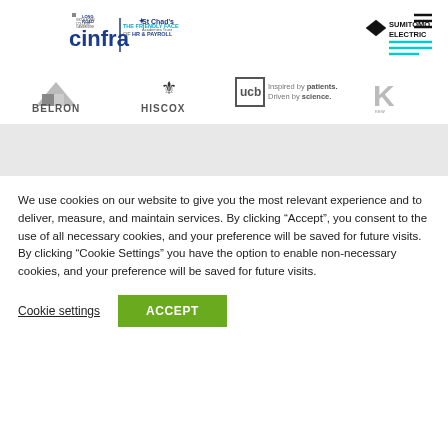[Figure (logo): Cinfra HR & Payroll logo with Long Road Sixth Form College Cambridge and St Chad's Academies Trust and Sumitomo Electric logos in header row]
[Figure (logo): Second row of client logos: Belron, Hiscox, UCB Inspired by patients Driven by science, Kew Green Hotels]
We use cookies on our website to give you the most relevant experience and to deliver, measure, and maintain services. By clicking “Accept”, you consent to the use of all necessary cookies, and your preference will be saved for future visits. By clicking “Cookie Settings” you have the option to enable non-necessary cookies, and your preference will be saved for future visits.
Cookie settings   ACCEPT